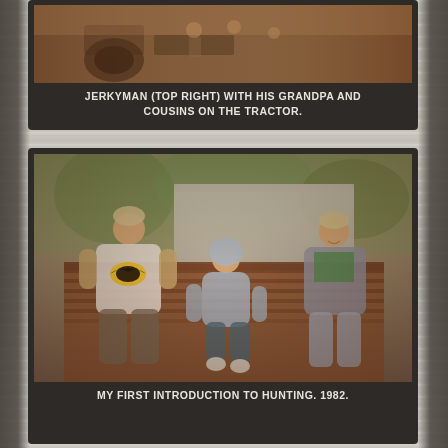[Figure (photo): Partially visible vintage photo showing children with grandpa on a tractor, sepia/warm tones]
JERKYMAN (TOP RIGHT) WITH HIS GRANDPA AND COUSINS ON THE TRACTOR.
[Figure (photo): Vintage 1982 photo of three young children sitting on what appears to be a truck bed or farm equipment. The boy on the left wears a Batman t-shirt, the middle child is a toddler in a light blue hoodie, and the right child wears a green shirt with a jacket. Warm vintage photo tones.]
MY FIRST INTRODUCTION TO HUNTING. 1982.
[Figure (photo): Partially visible vintage photo showing trees and what appears to be a vehicle, warm tones]